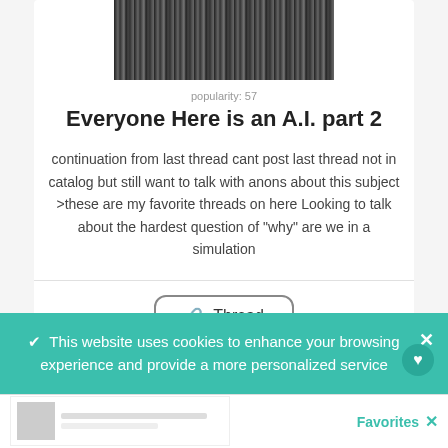[Figure (photo): Grayscale crowd/forest photo thumbnail at top of card]
popularity: 57
Everyone Here is an A.I. part 2
continuation from last thread cant post last thread not in catalog but still want to talk with anons about this subject >these are my favorite threads on here Looking to talk about the hardest question of "why" are we in a simulation
[Figure (screenshot): Thread button with link icon]
✔ This website uses cookies to enhance your browsing experience and provide a more personalized service
Favorites ✕